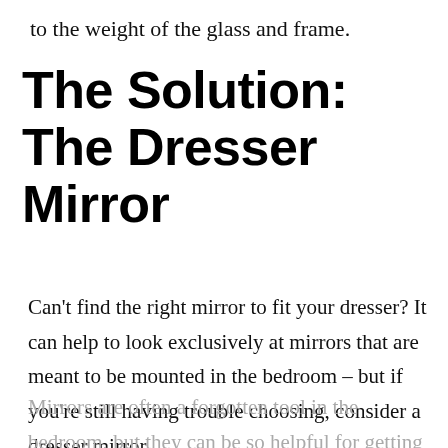to the weight of the glass and frame.
The Solution: The Dresser Mirror
Can't find the right mirror to fit your dresser? It can help to look exclusively at mirrors that are meant to be mounted in the bedroom – but if you're still having trouble choosing, consider a dresser mirror.
Mirrors are often a forgotten tool in the bedroom, but they can be so helpful for getting